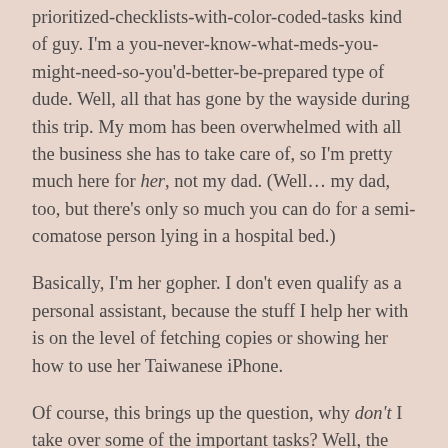prioritized-checklists-with-color-coded-tasks kind of guy. I'm a you-never-know-what-meds-you-might-need-so-you'd-better-be-prepared type of dude. Well, all that has gone by the wayside during this trip. My mom has been overwhelmed with all the business she has to take care of, so I'm pretty much here for her, not my dad. (Well… my dad, too, but there's only so much you can do for a semi-comatose person lying in a hospital bed.)
Basically, I'm her gopher. I don't even qualify as a personal assistant, because the stuff I help her with is on the level of fetching copies or showing her how to use her Taiwanese iPhone.
Of course, this brings up the question, why don't I take over some of the important tasks? Well, the problem is, I'm not fluent enough in Taiwanese society. My conversational Taiwanese is barely tolerable, my spoken Mandarin is effectively non-existent (they speak